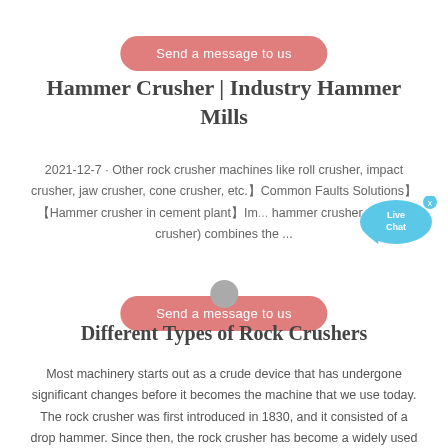[Figure (other): Pink rounded button reading 'Send a message to us']
Hammer Crusher | Industry Hammer Mills
2021-12-7 · Other rock crusher machines like roll crusher, impact crusher, jaw crusher, cone crusher, etc.】Common Faults Solutions】 【Hammer crusher in cement plant】Im... hammer crusher (cement crusher) combines the ...
[Figure (other): Live Chat bubble widget with blue speech bubble and 'x' close button]
[Figure (other): Pink rounded button reading 'Send a message to us' with grey circle above it]
Different Types of Rock Crushers
Most machinery starts out as a crude device that has undergone significant changes before it becomes the machine that we use today. The rock crusher was first introduced in 1830, and it consisted of a drop hammer. Since then, the rock crusher has become a widely used piece of equipment on many construction sites, and it has taken many forms.